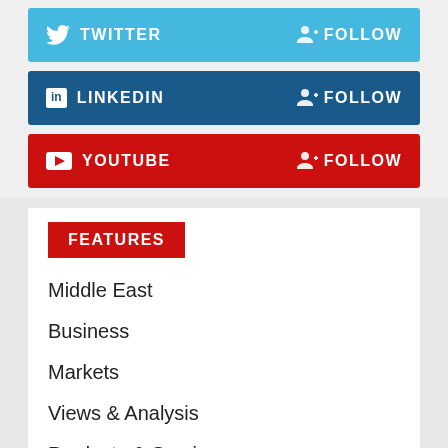[Figure (infographic): Twitter social media follow button bar (light blue background) with Twitter bird icon, TWITTER text, and FOLLOW button]
[Figure (infographic): LinkedIn social media follow button bar (dark blue background) with LinkedIn icon, LINKEDIN text, and FOLLOW button]
[Figure (infographic): YouTube social media follow button bar (red background) with YouTube play icon, YOUTUBE text, and FOLLOW button]
FEATURES
Middle East
Business
Markets
Views & Analysis
Products & Services
Pumps